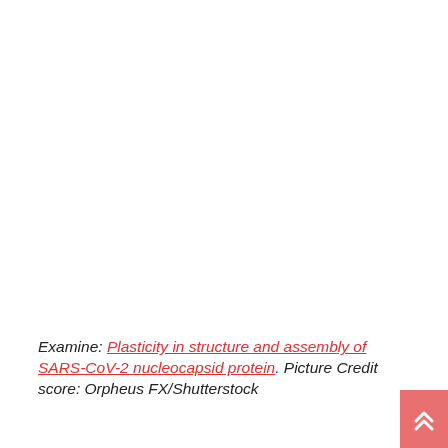Examine: Plasticity in structure and assembly of SARS-CoV-2 nucleocapsid protein. Picture Credit score: Orpheus FX/Shutterstock